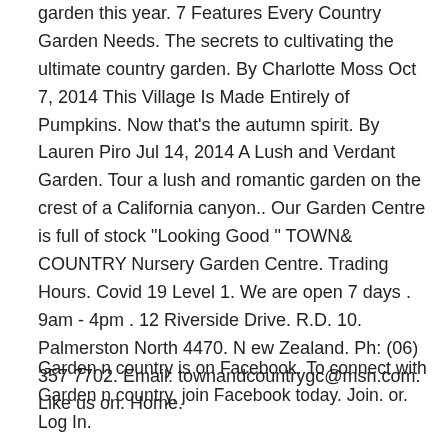garden this year. 7 Features Every Country Garden Needs. The secrets to cultivating the ultimate country garden. By Charlotte Moss Oct 7, 2014 This Village Is Made Entirely of Pumpkins. Now that's the autumn spirit. By Lauren Piro Jul 14, 2014 A Lush and Verdant Garden. Tour a lush and romantic garden on the crest of a California canyon.. Our Garden Centre is full of stock "Looking Good " TOWN& COUNTRY Nursery Garden Centre. Trading Hours. Covid 19 Level 1. We are open 7 days . 9am - 4pm . 12 Riverside Drive. R.D. 10. Palmerston North 4470. N ew Zealand. Ph: (06) 357 7702. Email: townandcountrygc@msn.com. Like us on. Home.
Garden n country is on Facebook. To connect with Garden n country, join Facebook today. Join. or. Log In.